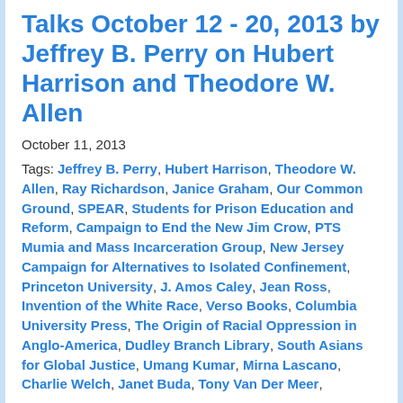Talks October 12 - 20, 2013 by Jeffrey B. Perry on Hubert Harrison and Theodore W. Allen
October 11, 2013
Tags: Jeffrey B. Perry, Hubert Harrison, Theodore W. Allen, Ray Richardson, Janice Graham, Our Common Ground, SPEAR, Students for Prison Education and Reform, Campaign to End the New Jim Crow, PTS Mumia and Mass Incarceration Group, New Jersey Campaign for Alternatives to Isolated Confinement, Princeton University, J. Amos Caley, Jean Ross, Invention of the White Race, Verso Books, Columbia University Press, The Origin of Racial Oppression in Anglo-America, Dudley Branch Library, South Asians for Global Justice, Umang Kumar, Mirna Lascano, Charlie Welch, Janet Buda, Tony Van Der Meer,